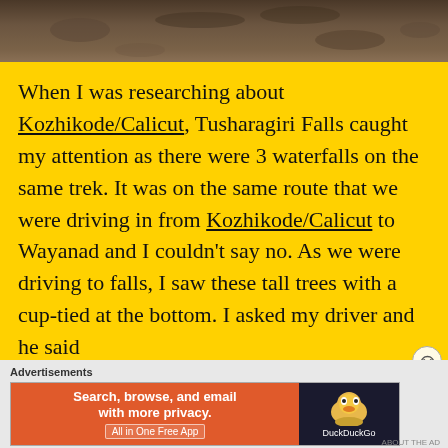[Figure (photo): Top portion of a nature/ground photograph, showing soil and leaves, partially cropped]
When I was researching about Kozhikode/Calicut, Tusharagiri Falls caught my attention as there were 3 waterfalls on the same trek. It was on the same route that we were driving in from Kozhikode/Calicut to Wayanad and I couldn't say no. As we were driving to falls, I saw these tall trees with a cup-tied at the bottom. I asked my driver and he said
[Figure (screenshot): DuckDuckGo advertisement banner with orange left section saying 'Search, browse, and email with more privacy. All in One Free App' and dark right section with DuckDuckGo duck logo]
Advertisements